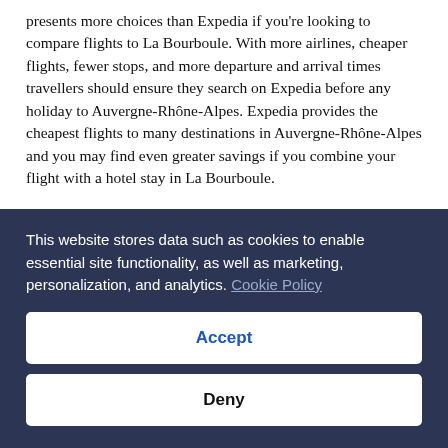presents more choices than Expedia if you're looking to compare flights to La Bourboule. With more airlines, cheaper flights, fewer stops, and more departure and arrival times travellers should ensure they search on Expedia before any holiday to Auvergne-Rhône-Alpes. Expedia provides the cheapest flights to many destinations in Auvergne-Rhône-Alpes and you may find even greater savings if you combine your flight with a hotel stay in La Bourboule.
Expedia is the largest online travel agency which means that Expedia have access to cheap flights. So make sure you check Expedia regularly for these bargain flights because the cheapest airline tickets sell out fast.
Expedia is not only free for everyone to use but it quick and easy to use. Find the lowest flight prices guaranteed and book...
This website stores data such as cookies to enable essential site functionality, as well as marketing, personalization, and analytics. Cookie Policy
Accept
Deny